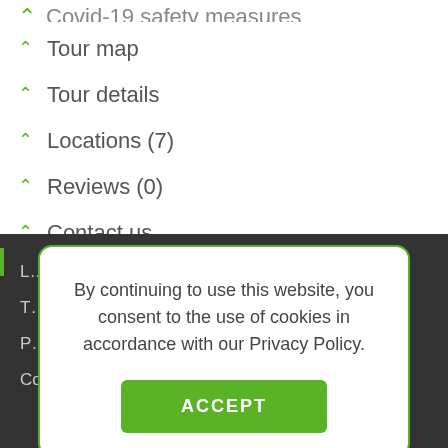Covid-19 safety measures
Tour map
Tour details
Locations (7)
Reviews (0)
Contact us
Related tours
By continuing to use this website, you consent to the use of cookies in accordance with our Privacy Policy.
ACCEPT